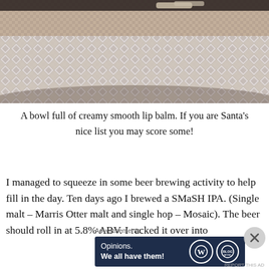[Figure (photo): Close-up photo of a bowl or plate with a diamond-cut crystal/glass rim pattern, textured woven surface visible underneath, with rolled items in the bowl at top]
A bowl full of creamy smooth lip balm. If you are Santa's nice list you may score some!
I managed to squeeze in some beer brewing activity to help fill in the day. Ten days ago I brewed a SMaSH IPA. (Single malt – Marris Otter malt and single hop – Mosaic). The beer should roll in at 5.8% ABV. I racked it over into
Advertisements
[Figure (other): WordPress advertisement banner with dark navy background reading 'Opinions. We all have them!' with WordPress logo and another circular logo on the right]